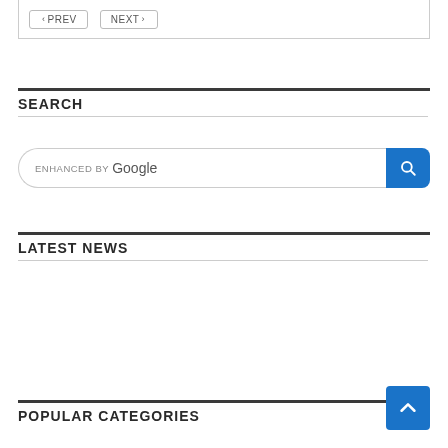< PREV   NEXT >
SEARCH
[Figure (screenshot): Google enhanced search bar with blue search button and magnifying glass icon]
LATEST NEWS
POPULAR CATEGORIES
[Figure (other): Blue back-to-top arrow button in bottom right corner]